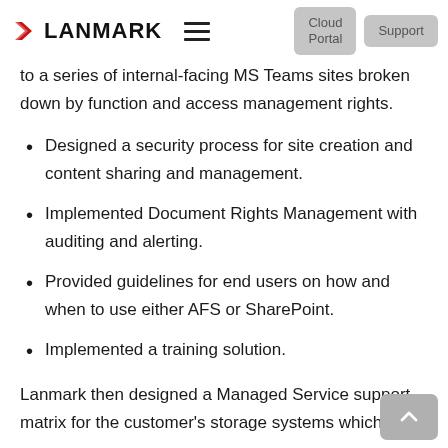LANMARK
to a series of internal-facing MS Teams sites broken down by function and access management rights.
Designed a security process for site creation and content sharing and management.
Implemented Document Rights Management with auditing and alerting.
Provided guidelines for end users on how and when to use either AFS or SharePoint.
Implemented a training solution.
Lanmark then designed a Managed Service support matrix for the customer's storage systems which